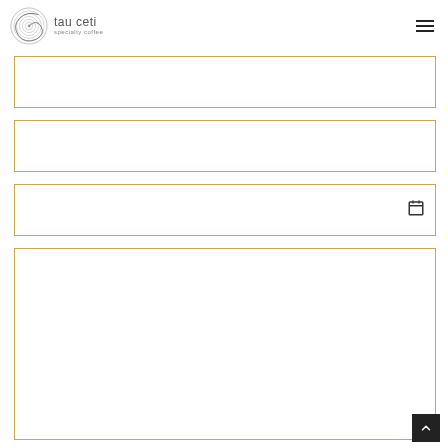[Figure (logo): Tau Ceti specialty coffee logo with spiral icon and text 'tau ceti specialty coffee']
[Figure (other): Navigation hamburger menu icon (three horizontal lines) in top right corner]
[Figure (other): Input form field box 1 - empty text input with gold/amber border]
[Figure (other): Input form field box 2 - empty text input with gold/amber border]
[Figure (other): Input form field box 3 - date input with calendar icon and gold/amber border]
[Figure (other): Large textarea/form field box 4 - empty multi-line text input with gold/amber border]
[Figure (other): Scroll-to-top button in dark background with upward chevron arrow]